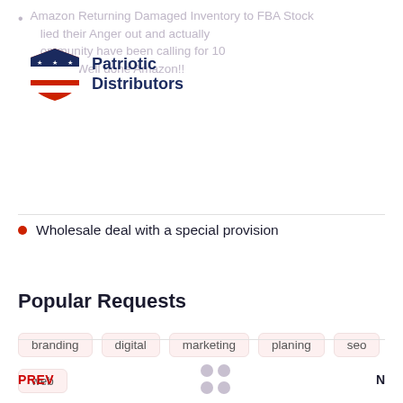Amazon Returning Damaged Inventory to FBA Stock ... lied their Anger out and actually ... ommunity have been calling for 10 years. Well done Amazon!!
[Figure (logo): Patriotic Distributors logo with shield icon (red/white/blue stars and stripes) and bold dark blue text reading 'Patriotic Distributors']
Wholesale deal with a special provision
Popular Requests
branding
digital
marketing
planing
seo
web
PREV   ••  •• N